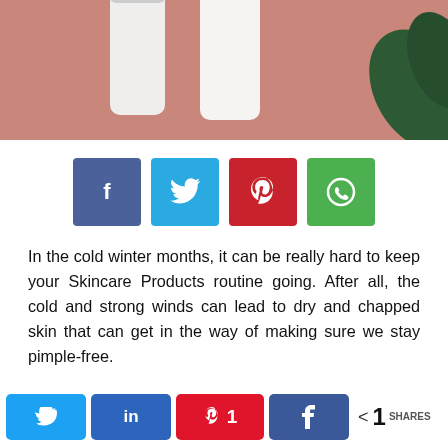[Figure (photo): Partial top view of white skincare product tubes on a pinkish-mauve background with dark green leaf in corner]
[Figure (infographic): Row of four social share buttons: Facebook (blue), Twitter (light blue), Pinterest (red), WhatsApp (green)]
In the cold winter months, it can be really hard to keep your Skincare Products routine going. After all, the cold and strong winds can lead to dry and chapped skin that can get in the way of making sure we stay pimple-free.
Twitter share | LinkedIn share | Pinterest 1 share | Facebook share | < 1 SHARES